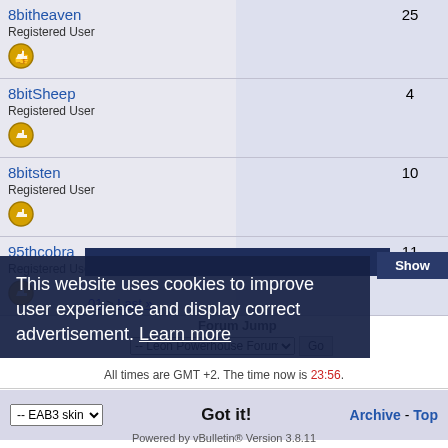| User |  | Posts | Join Date |
| --- | --- | --- | --- |
| 8bitheaven
Registered User |  | 25 | 24 July 2022 |
| 8bitSheep
Registered User |  | 4 | 13 August 2022 |
| 8bitsten
Registered User |  | 10 | Today |
| 95thcobra
Registered User |  | 11 | 11 December 2018 |
Show
01 > Last »
Forum Jump
All times are GMT +2. The time now is 23:56.
This website uses cookies to improve user experience and display correct advertisement. Learn more
Got it!
Archive - Top
Powered by vBulletin® Version 3.8.11